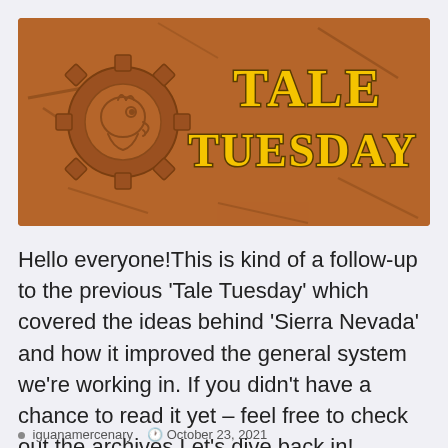[Figure (illustration): Brown banner image with a stylized iguana/creature head inside a gear on the left, and the text 'TALE TUESDAY' in large bold yellow western-style font on the right, with decorative dark scratch marks on the brown background.]
Hello everyone!This is kind of a follow-up to the previous ‘Tale Tuesday’ which covered the ideas behind ‘Sierra Nevada’ and how it improved the general system we're working in. If you didn’t have a chance to read it yet – feel free to check out the archives.Let’s dive back in!
iguanamercenary   October 23, 2021